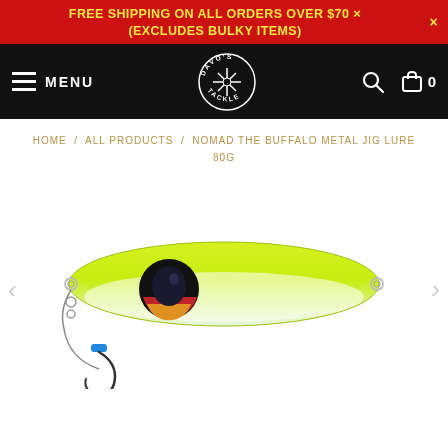FREE SHIPPING ON ALL ORDERS OVER $70 × (excludes bulky items)
[Figure (screenshot): Davo's Tackle website navigation bar with hamburger menu, MENU text, Davo's Tackle logo, search icon, and cart icon with 0 count]
HOME / ALL PRODUCTS / NOMAD THE BUFFALO METAL JIG LURE 80G
[Figure (photo): Yellow-green and white metal fishing jig lure (Nomad The Buffalo Metal Jig Lure 80G) with eye detail in black, red, gold on a white background. The lure has a hook with blue crimp attachment hanging below.]